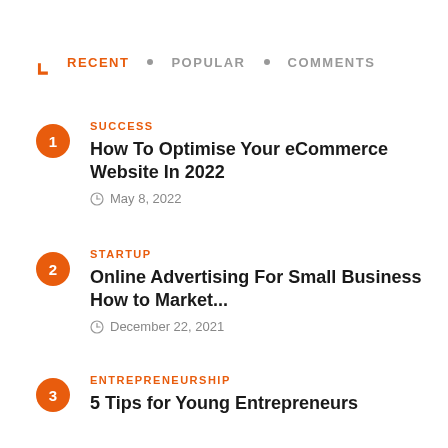RECENT • POPULAR • COMMENTS
1 | SUCCESS | How To Optimise Your eCommerce Website In 2022 | May 8, 2022
2 | STARTUP | Online Advertising For Small Business How to Market... | December 22, 2021
3 | ENTREPRENEURSHIP | 5 Tips for Young Entrepreneurs